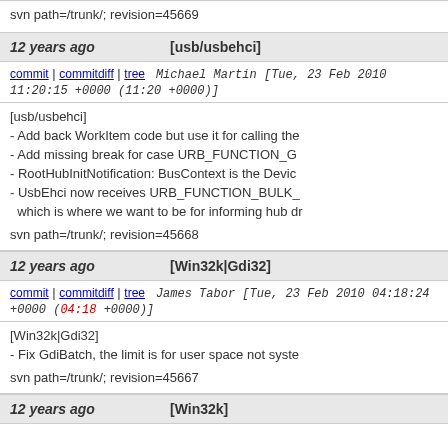svn path=/trunk/; revision=45669
12 years ago   [usb/usbehci]
commit | commitdiff | tree   Michael Martin [Tue, 23 Feb 2010 11:20:15 +0000 (11:20 +0000)]
[usb/usbehci]
- Add back WorkItem code but use it for calling the
- Add missing break for case URB_FUNCTION_G
- RootHubInitNotification: BusContext is the Devic
- UsbEhci now receives URB_FUNCTION_BULK_
  which is where we want to be for informing hub dr

svn path=/trunk/; revision=45668
12 years ago   [Win32k|Gdi32]
commit | commitdiff | tree   James Tabor [Tue, 23 Feb 2010 04:18:24 +0000 (04:18 +0000)]
[Win32k|Gdi32]
- Fix GdiBatch, the limit is for user space not syste

svn path=/trunk/; revision=45667
12 years ago   [Win32k]